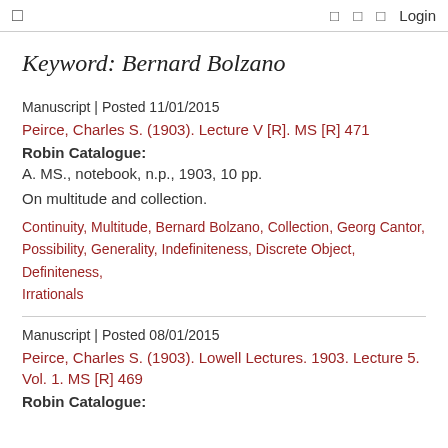Login
Keyword: Bernard Bolzano
Manuscript | Posted 11/01/2015
Peirce, Charles S. (1903). Lecture V [R]. MS [R] 471
Robin Catalogue:
A. MS., notebook, n.p., 1903, 10 pp.
On multitude and collection.
Continuity, Multitude, Bernard Bolzano, Collection, Georg Cantor, Possibility, Generality, Indefiniteness, Discrete Object, Definiteness, Irrationals
Manuscript | Posted 08/01/2015
Peirce, Charles S. (1903). Lowell Lectures. 1903. Lecture 5. Vol. 1. MS [R] 469
Robin Catalogue: